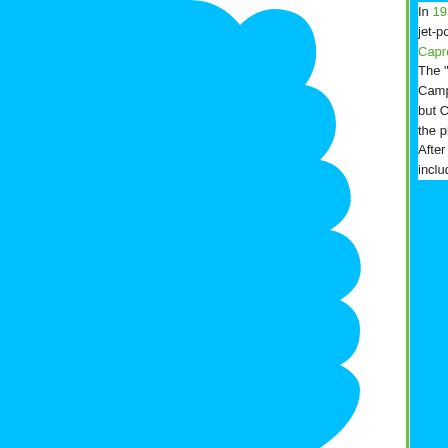In 1931 Campini wrote a proposal for the Italian A and in 1932 demonstrated a jet-powered boat in V began work with Italian aircraft manufacturer Cap Caproni CC.2, which first flew in 1940. The "Thermojet" that Campini developed to prope the jet engines of today. Campini's engine used a which was then mixed with fuel and ignited. Mode but Campini's jet was nevertheless a true jet, sinc exhaust gasses that pushed the plane along. After World War II, Campini went to work in the U number of military projects including the YB-49[?]
All Wikipedia text is available under the terms of th
Search Encyclopedia
Search over one million articles, find something about almost anything!